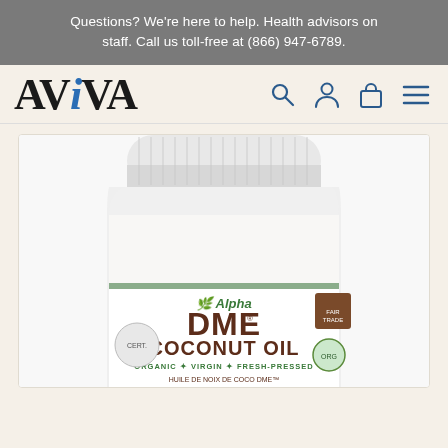Questions? We're here to help. Health advisors on staff. Call us toll-free at (866) 947-6789.
[Figure (logo): AVIiVA logo with blue italic i]
[Figure (photo): Alpha DME Coconut Oil jar - Organic, Virgin, Fresh-Pressed product photo, partially cropped showing top and label]